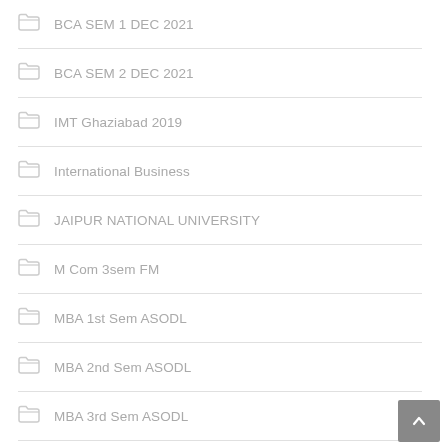BCA SEM 1 DEC 2021
BCA SEM 2 DEC 2021
IMT Ghaziabad 2019
International Business
JAIPUR NATIONAL UNIVERSITY
M Com 3sem FM
MBA 1st Sem ASODL
MBA 2nd Sem ASODL
MBA 3rd Sem ASODL
MBA 4th Sem ASODL
MBA Finance
MBA HR